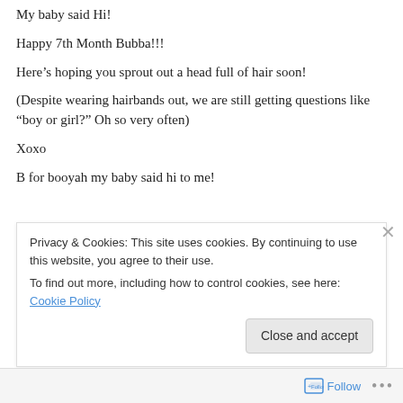My baby said Hi!
Happy 7th Month Bubba!!!
Here's hoping you sprout out a head full of hair soon!
(Despite wearing hairbands out, we are still getting questions like “boy or girl?” Oh so very often)
Xoxo
B for booyah my baby said hi to me!
Share this
Privacy & Cookies: This site uses cookies. By continuing to use this website, you agree to their use.
To find out more, including how to control cookies, see here: Cookie Policy
Close and accept
Follow